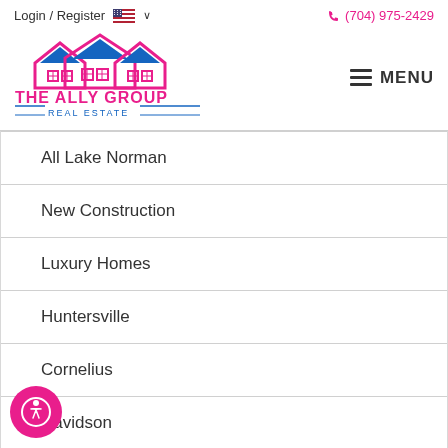Login / Register   (704) 975-2429
[Figure (logo): The Ally Group Real Estate logo with pink and blue house/roof design]
All Lake Norman
New Construction
Luxury Homes
Huntersville
Cornelius
Davidson
l Charlotte